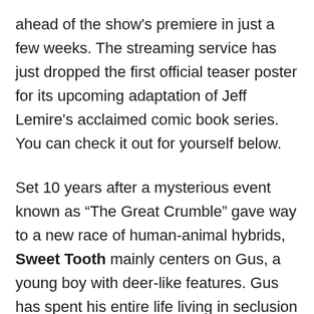ahead of the show's premiere in just a few weeks. The streaming service has just dropped the first official teaser poster for its upcoming adaptation of Jeff Lemire's acclaimed comic book series. You can check it out for yourself below.
Set 10 years after a mysterious event known as “The Great Crumble” gave way to a new race of human-animal hybrids, Sweet Tooth mainly centers on Gus, a young boy with deer-like features. Gus has spent his entire life living in seclusion with his father. But when he meets a loner named Tommy Jeppard, he sets out on an adventure to discover the truth behind this strange new world. Gus and Jeppard appear front and center in this new poster, which also highlights the series’ lush post-apocalyptic